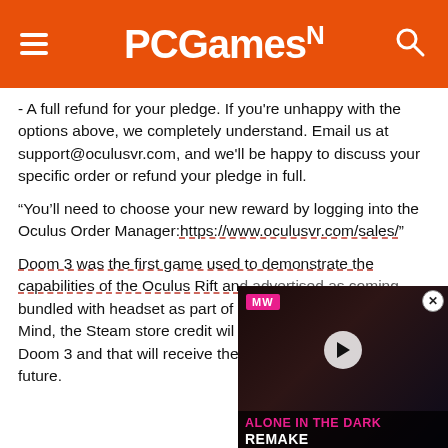PCGamesN
- A full refund for your pledge. If you're unhappy with the options above, we completely understand. Email us at support@oculusvr.com, and we'll be happy to discuss your specific order or refund your pledge in full.
“You’ll need to choose your new reward by logging into the Oculus Order Manager:https://www.oculusvr.com/sales/”
Doom 3 was the first game used to demonstrate the capabilities of the Oculus Rift and advertised as coming bundled with headset as part of... Mind, the Steam store credit wil... Doom 3 and that will receive the... future.
We’ve reached out to OculusVR to try and confirm this news.
[Figure (screenshot): MW (Multiplayer) promotional video thumbnail for 'Alone in the Dark Remake' with pink title text and play button]
PROMOTED